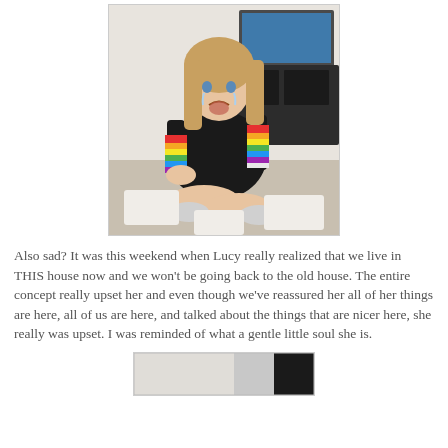[Figure (photo): A young girl with long blonde hair wearing a black shirt with rainbow striped sleeves, crying and sitting on the floor. She appears upset and is surrounded by white containers/bags. A dark entertainment center with a TV is visible in the background.]
Also sad? It was this weekend when Lucy really realized that we live in THIS house now and we won't be going back to the old house. The entire concept really upset her and even though we've reassured her all of her things are here, all of us are here, and talked about the things that are nicer here, she really was upset. I was reminded of what a gentle little soul she is.
[Figure (photo): Partial view of another photo, cropped at bottom of page.]